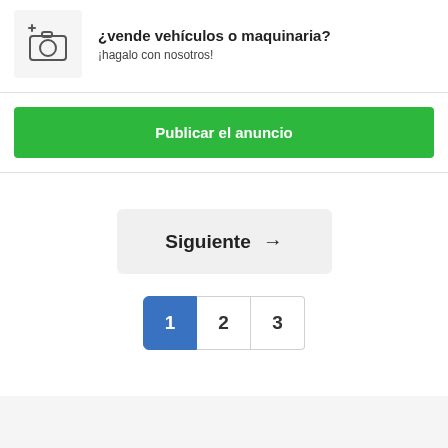[Figure (illustration): Camera icon with a plus sign, inside a light gray rounded box]
¿vende vehículos o maquinaria?
¡hagalo con nosotros!
Publicar el anuncio
Siguiente →
1
2
3